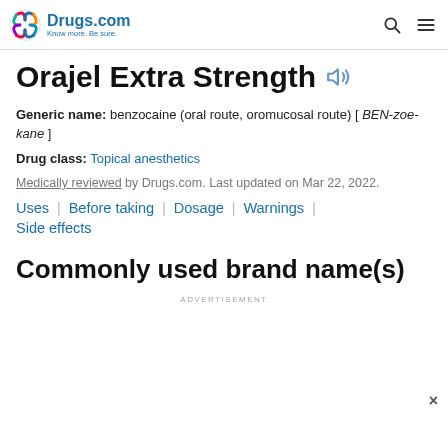Drugs.com — Know more. Be sure.
Orajel Extra Strength
Generic name: benzocaine (oral route, oromucosal route) [ BEN-zoe-kane ]
Drug class: Topical anesthetics
Medically reviewed by Drugs.com. Last updated on Mar 22, 2022.
Uses
Before taking
Dosage
Warnings
Side effects
Commonly used brand name(s)
ADVERTISEMENT